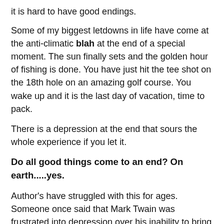it is hard to have good endings.
Some of my biggest letdowns in life have come at the anti-climatic blah at the end of a special moment. The sun finally sets and the golden hour of fishing is done. You have just hit the tee shot on the 18th hole on an amazing golf course. You wake up and it is the last day of vacation, time to pack.
There is a depression at the end that sours the whole experience if you let it.
Do all good things come to an end? On earth.....yes.
Author's have struggled with this for ages. Someone once said that Mark Twain was frustrated into depression over his inability to bring Huckleberry Finn to an adequate close.
It is also hard to finish well. Very few great men have been able to end at the right time and in the right way. Great athletes hang on too long or find their life tedious after retiring too soon.
Page... Page 134 fit that mold? It is the ending in...